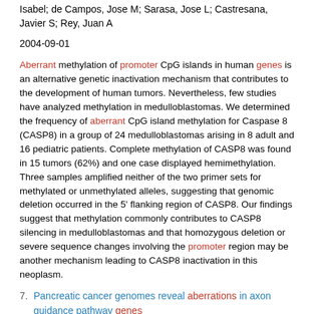Isabel; de Campos, Jose M; Sarasa, Jose L; Castresana, Javier S; Rey, Juan A
2004-09-01
Aberrant methylation of promoter CpG islands in human genes is an alternative genetic inactivation mechanism that contributes to the development of human tumors. Nevertheless, few studies have analyzed methylation in medulloblastomas. We determined the frequency of aberrant CpG island methylation for Caspase 8 (CASP8) in a group of 24 medulloblastomas arising in 8 adult and 16 pediatric patients. Complete methylation of CASP8 was found in 15 tumors (62%) and one case displayed hemimethylation. Three samples amplified neither of the two primer sets for methylated or unmethylated alleles, suggesting that genomic deletion occurred in the 5' flanking region of CASP8. Our findings suggest that methylation commonly contributes to CASP8 silencing in medulloblastomas and that homozygous deletion or severe sequence changes involving the promoter region may be another mechanism leading to CASP8 inactivation in this neoplasm.
7. Pancreatic cancer genomes reveal aberrations in axon guidance pathway genes